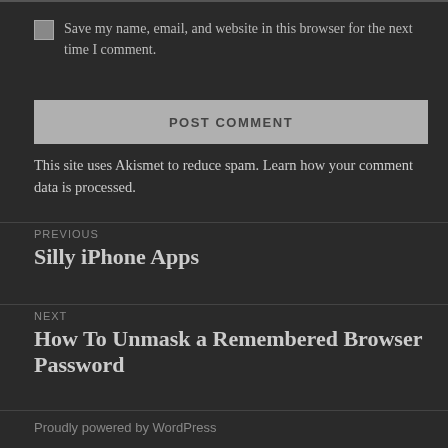Save my name, email, and website in this browser for the next time I comment.
POST COMMENT
This site uses Akismet to reduce spam. Learn how your comment data is processed.
PREVIOUS
Silly iPhone Apps
NEXT
How To Unmask a Remembered Browser Password
Proudly powered by WordPress